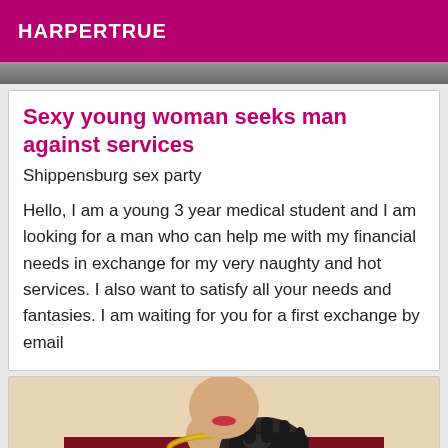HARPERTRUE
[Figure (photo): Cropped top portion of a photo visible behind the header area]
Sexy young woman seeks man against services
Shippensburg sex party
Hello, I am a young 3 year medical student and I am looking for a man who can help me with my financial needs in exchange for my very naughty and hot services. I also want to satisfy all your needs and fantasies. I am waiting for you for a first exchange by email
[Figure (photo): Woman in dark red sleeveless top wearing black leather gloves and gold chain necklace, hand raised near face]